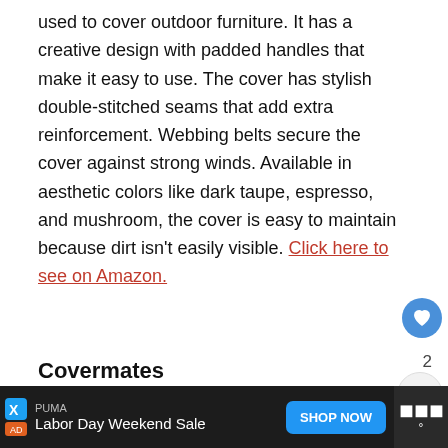used to cover outdoor furniture. It has a creative design with padded handles that make it easy to use. The cover has stylish double-stitched seams that add extra reinforcement. Webbing belts secure the cover against strong winds. Available in aesthetic colors like dark taupe, espresso, and mushroom, the cover is easy to maintain because dirt isn't easily visible. Click here to see on Amazon.
Covermates
[Figure (photo): Gray outdoor furniture cover shown on a rectangular piece of furniture, with an orange top border on the image container]
[Figure (screenshot): What's Next panel: thumbnail of person with helmet, text 'WHAT'S NEXT → 4 Best Air Conditioner...']
[Figure (infographic): Advertisement bar at bottom: PUMA Labor Day Weekend Sale with Shop Now button, weather widget on right]